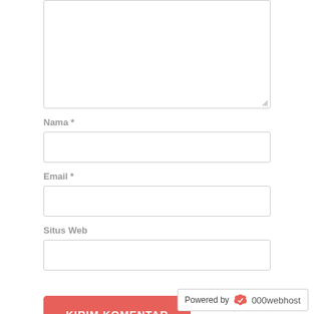[Figure (screenshot): A textarea input field (comment box) with a resize handle in the bottom-right corner, partially visible at the top of the page]
Nama *
[Figure (screenshot): An empty text input field for Nama (Name)]
Email *
[Figure (screenshot): An empty text input field for Email]
Situs Web
[Figure (screenshot): An empty text input field for Situs Web (Website)]
KIRIM KOMENTAR
Powered by 000webhost